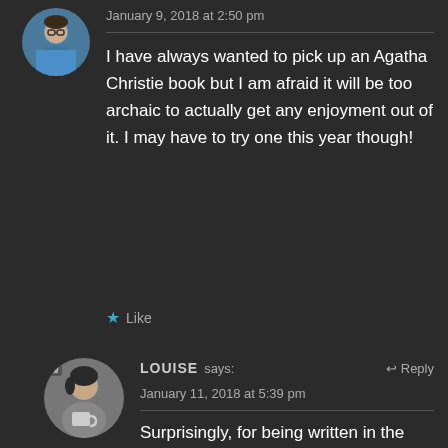January 9, 2018 at 2:50 pm
I have always wanted to pick up an Agatha Christie book but I am afraid it will be too archaic to actually get any enjoyment out of it. I may have to try one this year though!
Like
LOUISE says:
January 11, 2018 at 5:39 pm
Surprisingly, for being written in the 20s and 30s, they never feel dated or "old." They're super easy to read. Start with And Then There Were